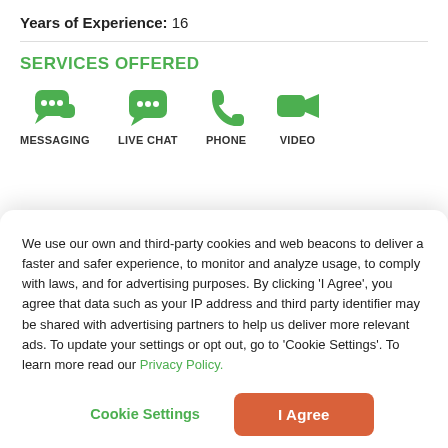Years of Experience: 16
SERVICES OFFERED
[Figure (infographic): Four green icons representing services: Messaging (speech bubble), Live Chat (speech bubble with dots), Phone (handset), Video (camera). Each icon is labeled below in uppercase text.]
We use our own and third-party cookies and web beacons to deliver a faster and safer experience, to monitor and analyze usage, to comply with laws, and for advertising purposes. By clicking 'I Agree', you agree that data such as your IP address and third party identifier may be shared with advertising partners to help us deliver more relevant ads. To update your settings or opt out, go to 'Cookie Settings'. To learn more read our Privacy Policy.
Cookie Settings | I Agree